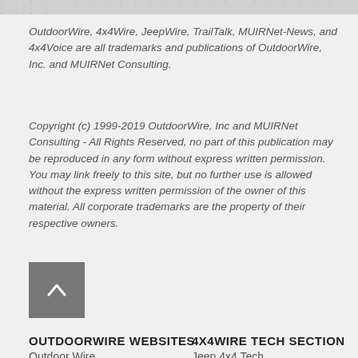· · · · · · · · · · · · · · · · · · · · · · ·
OutdoorWire, 4x4Wire, JeepWire, TrailTalk, MUIRNet-News, and 4x4Voice are all trademarks and publications of OutdoorWire, Inc. and MUIRNet Consulting.
Copyright (c) 1999-2019 OutdoorWire, Inc and MUIRNet Consulting - All Rights Reserved, no part of this publication may be reproduced in any form without express written permission. You may link freely to this site, but no further use is allowed without the express written permission of the owner of this material. All corporate trademarks are the property of their respective owners.
[Figure (other): Gray button with upward-pointing chevron/arrow icon]
OUTDOORWIRE WEBSITES
4X4WIRE TECH SECTION
Outdoor Wire
Jeep 4x4 Tech